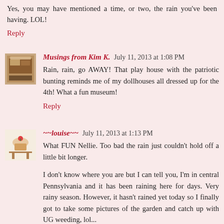Yes, you may have mentioned a time, or two, the rain you've been having. LOL!
Reply
Musings from Kim K.  July 11, 2013 at 1:08 PM
Rain, rain, go AWAY! That play house with the patriotic bunting reminds me of my dollhouses all dressed up for the 4th! What a fun museum!
Reply
~~louise~~  July 11, 2013 at 1:13 PM
What FUN Nellie. Too bad the rain just couldn't hold off a little bit longer.
I don't know where you are but I can tell you, I'm in central Pennsylvania and it has been raining here for days. Very rainy season. However, it hasn't rained yet today so I finally got to take some pictures of the garden and catch up with UG weeding, lol...